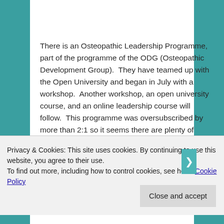There is an Osteopathic Leadership Programme, part of the programme of the ODG (Osteopathic Development Group).  They have teamed up with the Open University and began in July with a workshop.  Another workshop, an open university course, and an online leadership course will follow.  This programme was oversubscribed by more than 2:1 so it seems there are plenty of ambitious young (and old) things in our profession.  The programme is expected to run for at least 3 years.  If you're
Privacy & Cookies: This site uses cookies. By continuing to use this website, you agree to their use.
To find out more, including how to control cookies, see here: Cookie Policy